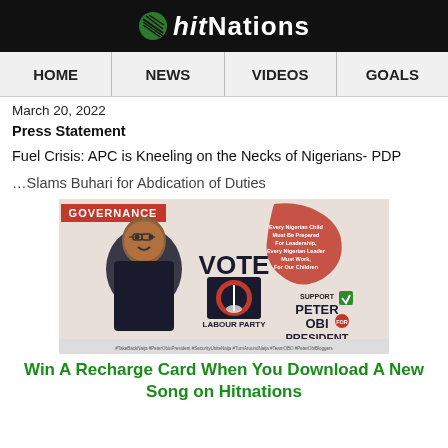hitNations
HOME | NEWS | VIDEOS | GOALS
March 20, 2022
Press Statement
Fuel Crisis: APC is Kneeling on the Necks of Nigerians- PDP
…Slams Buhari for Abdication of Duties
[Figure (photo): Campaign image for Peter Obi for President - Labour Party, with GOVERNANCE banner, including hashtags]
Win A Recharge Card When You Download A New Song on Hitnations